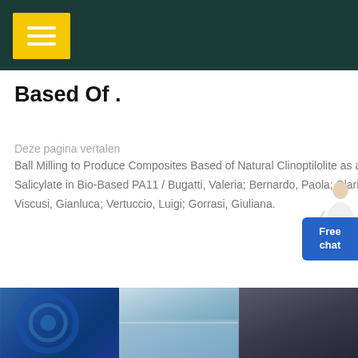Based Of .
Deze pagina vertalen
Ball Milling to Produce Composites Based of Natural Clinoptilolite as a Carrier of Salicylate in Bio-Based PA11 / Bugatti, Valeria; Bernardo, Paola; Clarizia, Gabriele; Viscusi, Gianluca; Vertuccio, Luigi; Gorrasi, Giuliana.
[Figure (other): GET PRICE yellow rounded button]
[Figure (other): Free chat blue button with customer service avatar figure]
[Figure (photo): Three thumbnail images at the bottom of the page]